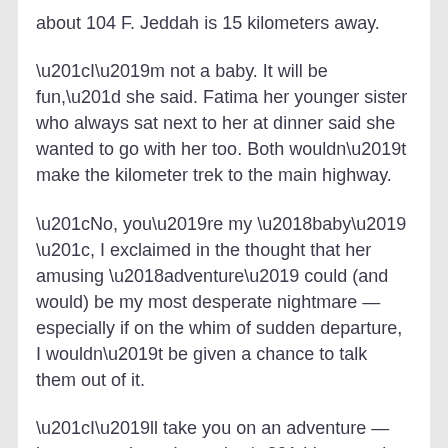about 104 F. Jeddah is 15 kilometers away.
“I’m not a baby. It will be fun,” she said. Fatima her younger sister who always sat next to her at dinner said she wanted to go with her too. Both wouldn’t make the kilometer trek to the main highway.
“No, you’re my ‘baby’ “, I exclaimed in the thought that her amusing ‘adventure’ could (and would) be my most desperate nightmare — especially if on the whim of sudden departure, I wouldn’t be given a chance to talk them out of it.
“I’ll take you on an adventure — just you and me. I promise,” I assured them. I knew they would wait.